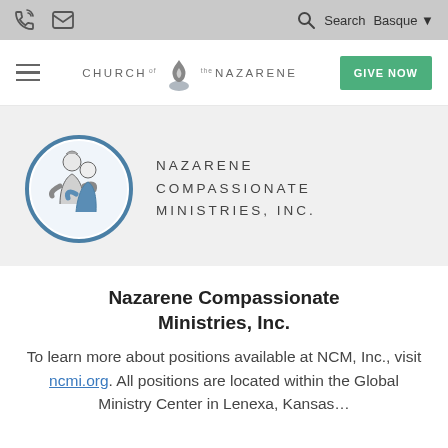Navigation bar with phone icon, mail icon, search icon, Search text, Basque language selector
[Figure (logo): Church of the Nazarene header logo with hamburger menu, flame logo, and GIVE NOW button]
[Figure (logo): Nazarene Compassionate Ministries Inc. circular logo showing two figures embracing, with organization name in spaced uppercase letters]
Nazarene Compassionate Ministries, Inc.
To learn more about positions available at NCM, Inc., visit ncmi.org. All positions are located within the Global Ministry Center in Lenexa, Kansas...